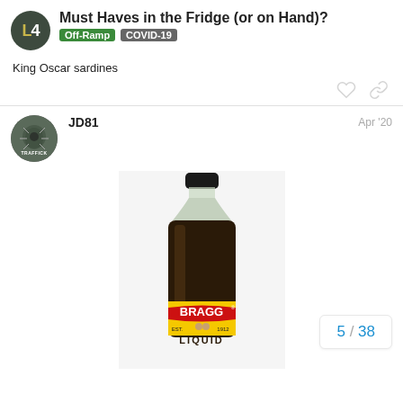Must Haves in the Fridge (or on Hand)? | Off-Ramp | COVID-19
King Oscar sardines
JD81 Apr '20
[Figure (photo): A bottle of Bragg Liquid Aminos with a yellow label showing 'BRAGG EST. 1912 LIQUID' text and two figures on the label]
5 / 38